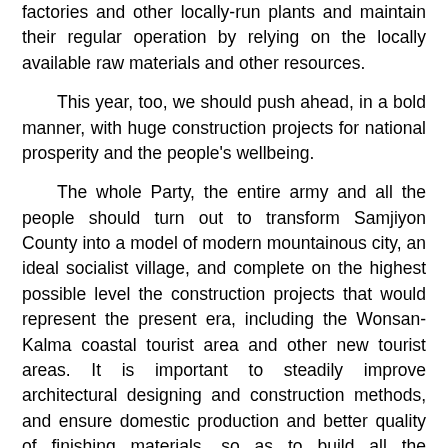factories and other locally-run plants and maintain their regular operation by relying on the locally available raw materials and other resources.
This year, too, we should push ahead, in a bold manner, with huge construction projects for national prosperity and the people's wellbeing.
The whole Party, the entire army and all the people should turn out to transform Samjiyon County into a model of modern mountainous city, an ideal socialist village, and complete on the highest possible level the construction projects that would represent the present era, including the Wonsan-Kalma coastal tourist area and other new tourist areas. It is important to steadily improve architectural designing and construction methods, and ensure domestic production and better quality of finishing materials, so as to build all the architectural structures magnificently and in our own style and provide our people with a cultured, happy life. With the national-level construction projects underway on an extensive scale, we should build up the capacity of